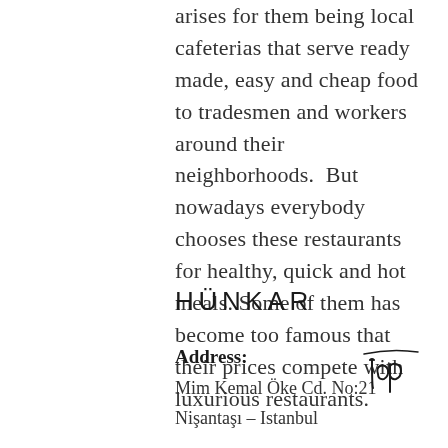arises for them being local cafeterias that serve ready made, easy and cheap food to tradesmen and workers around their neighborhoods.  But nowadays everybody chooses these restaurants for healthy, quick and hot meals. Some of them has become too famous that their prices compete with luxurious restaurants.
HÜNKAR
Address: Mim Kemal Öke Cd. No:21 Nişantaşı – Istanbul
[Figure (illustration): Handwritten cursive signature/logo reading 'Top']